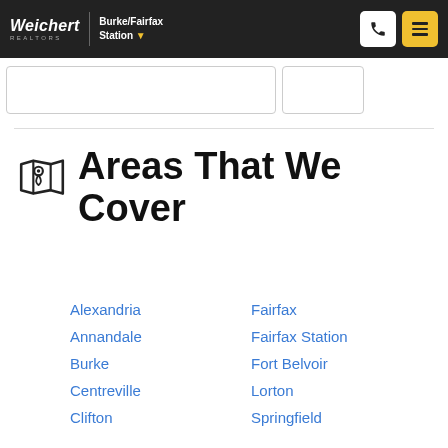Weichert REALTORS Burke/Fairfax Station
Areas That We Cover
Alexandria
Annandale
Burke
Centreville
Clifton
Fairfax
Fairfax Station
Fort Belvoir
Lorton
Springfield